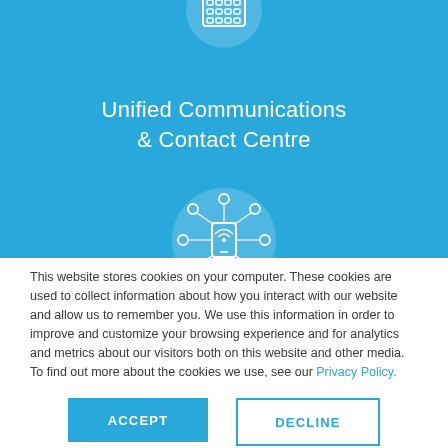[Figure (illustration): Phone/grid icon in white outline on light blue circle background, top center]
Unified Communications & Contact Centre
[Figure (illustration): Network/IoT device icon in white outline on light blue circle background, center]
This website stores cookies on your computer. These cookies are used to collect information about how you interact with our website and allow us to remember you. We use this information in order to improve and customize your browsing experience and for analytics and metrics about our visitors both on this website and other media. To find out more about the cookies we use, see our Privacy Policy.
ACCEPT
DECLINE